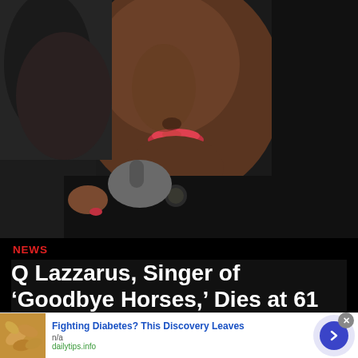[Figure (photo): Close-up photo of a Black woman with braided hair and red lips, wearing dark clothing and a pendant, photographed in low light against a dark background.]
NEWS
Q Lazzarus, Singer of ‘Goodbye Horses,’ Dies at 61
[Figure (other): Advertisement: Fighting Diabetes? This Discovery Leaves — n/a — dailytips.info, with thumbnail of cashews and an arrow button]